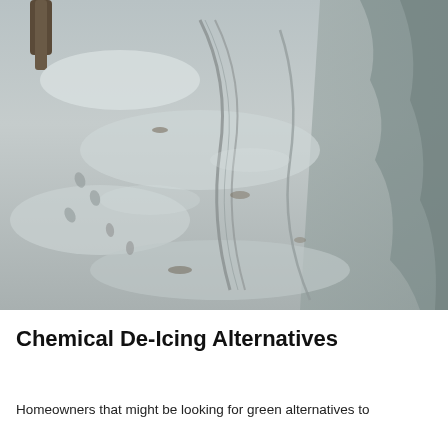[Figure (photo): Outdoor winter scene showing a snow and ice covered driveway or path with tire tracks and footprints. A tree trunk is visible in the upper left corner. The surface is icy and wet with patches of exposed ground visible.]
Chemical De-Icing Alternatives
Homeowners that might be looking for green alternatives to